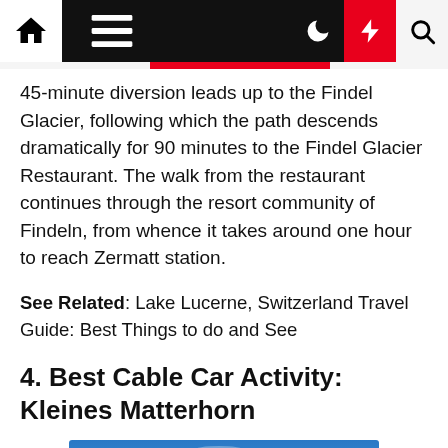Navigation bar with home, menu, moon, bolt, and search icons
45-minute diversion leads up to the Findel Glacier, following which the path descends dramatically for 90 minutes to the Findel Glacier Restaurant. The walk from the restaurant continues through the resort community of Findeln, from whence it takes around one hour to reach Zermatt station.
See Related: Lake Lucerne, Switzerland Travel Guide: Best Things to do and See
4. Best Cable Car Activity: Kleines Matterhorn
[Figure (photo): Mountain landscape showing snow-covered peaks under a blue sky with wispy clouds, likely the Matterhorn area near Zermatt, Switzerland]